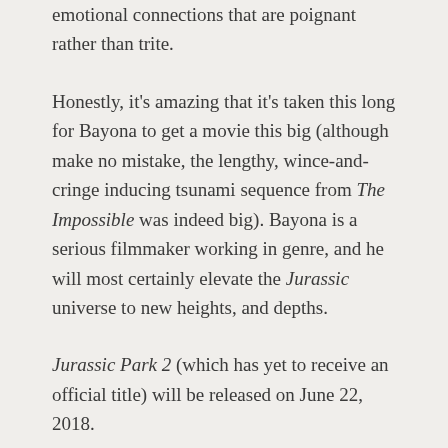emotional connections that are poignant rather than trite.
Honestly, it's amazing that it's taken this long for Bayona to get a movie this big (although make no mistake, the lengthy, wince-and-cringe inducing tsunami sequence from The Impossible was indeed big). Bayona is a serious filmmaker working in genre, and he will most certainly elevate the Jurassic universe to new heights, and depths.
Jurassic Park 2 (which has yet to receive an official title) will be released on June 22, 2018.
To get a sense of how perfect Bayona is – both in style and emotional substance – check out (below) the trailer for The Orphange, and an abbreviated clip